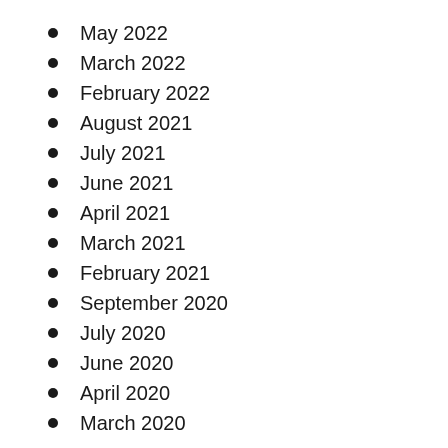May 2022
March 2022
February 2022
August 2021
July 2021
June 2021
April 2021
March 2021
February 2021
September 2020
July 2020
June 2020
April 2020
March 2020